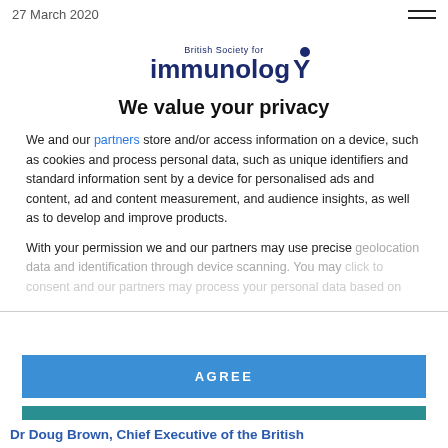27 March 2020
[Figure (logo): British Society for Immunology logo — text reads 'British Society for immunologY' with a circular dot above the Y]
We value your privacy
We and our partners store and/or access information on a device, such as cookies and process personal data, such as unique identifiers and standard information sent by a device for personalised ads and content, ad and content measurement, and audience insights, as well as to develop and improve products.
With your permission we and our partners may use precise geolocation data and identification through device scanning. You may click to consent and our partners may process your personal data based on
AGREE
MORE OPTIONS
DISAGREE
Dr Doug Brown, Chief Executive of the British